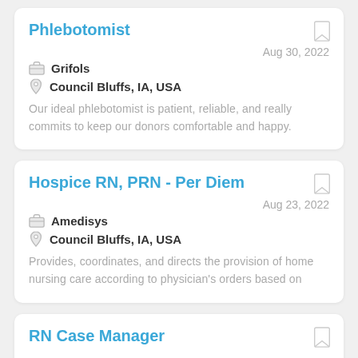Phlebotomist
Grifols
Council Bluffs, IA, USA
Aug 30, 2022
Our ideal phlebotomist is patient, reliable, and really commits to keep our donors comfortable and happy.
Hospice RN, PRN - Per Diem
Amedisys
Council Bluffs, IA, USA
Aug 23, 2022
Provides, coordinates, and directs the provision of home nursing care according to physician's orders based on
RN Case Manager